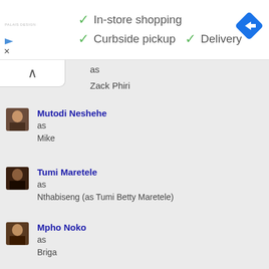[Figure (screenshot): Top banner with store features: checkmarks for In-store shopping, Curbside pickup, Delivery, and a blue navigation icon on the right. Small logo text on the left.]
as
Zack Phiri
Mutodi Neshehe
as
Mike
Tumi Maretele
as
Nthabiseng (as Tumi Betty Maretele)
Mpho Noko
as
Briga
Darren Kelfkens
as
Doctor
Hellen Motsuki
as